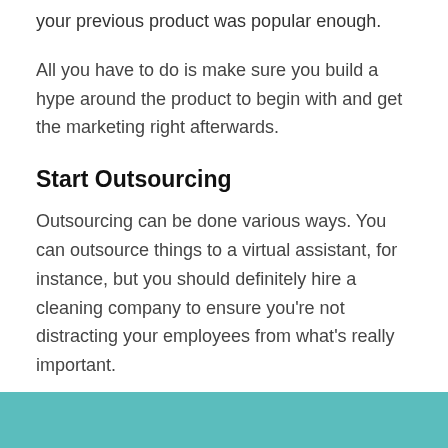your previous product was popular enough.
All you have to do is make sure you build a hype around the product to begin with and get the marketing right afterwards.
Start Outsourcing
Outsourcing can be done various ways. You can outsource things to a virtual assistant, for instance, but you should definitely hire a cleaning company to ensure you're not distracting your employees from what's really important.
The infographic below can help you to figure out how to bid for an office cleaning company:
[Figure (infographic): Teal/cyan colored infographic preview bar at bottom of page]